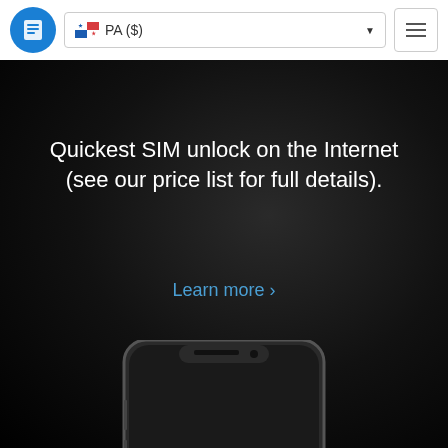PA ($)
Quickest SIM unlock on the Internet (see our price list for full details).
Learn more ›
[Figure (photo): Smartphone held by two hands showing 'Unlock Complete' on its screen against a dark background]